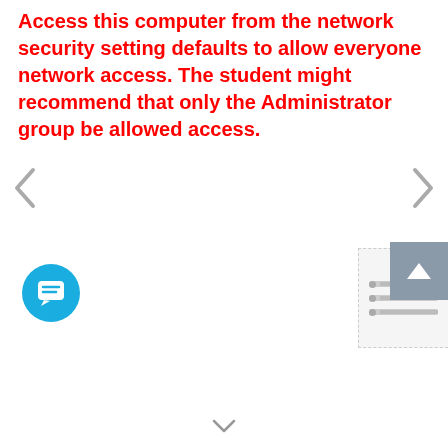Access this computer from the network security setting defaults to allow everyone network access. The student might recommend that only the Administrator group be allowed access.
[Figure (other): Left navigation chevron arrow (previous)]
[Figure (other): Right navigation chevron arrow (next)]
[Figure (screenshot): Thumbnail panel showing list items with dots and bars]
[Figure (other): Scroll-to-top button with upward arrow, gray square]
[Figure (other): Blue circular chat/message button with speech bubble icon]